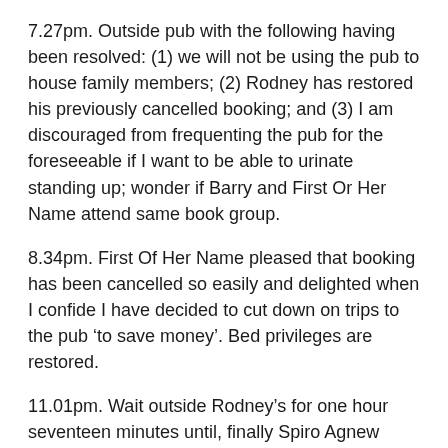7.27pm. Outside pub with the following having been resolved: (1) we will not be using the pub to house family members; (2) Rodney has restored his previously cancelled booking; and (3) I am discouraged from frequenting the pub for the foreseeable if I want to be able to urinate standing up; wonder if Barry and First Or Her Name attend same book group.
8.34pm. First Of Her Name pleased that booking has been cancelled so easily and delighted when I confide I have decided to cut down on trips to the pub ‘to save money’. Bed privileges are restored.
11.01pm. Wait outside Rodney’s for one hour seventeen minutes until, finally Spiro Agnew delivers. Think, perhaps that is enough of a protest for tonight.